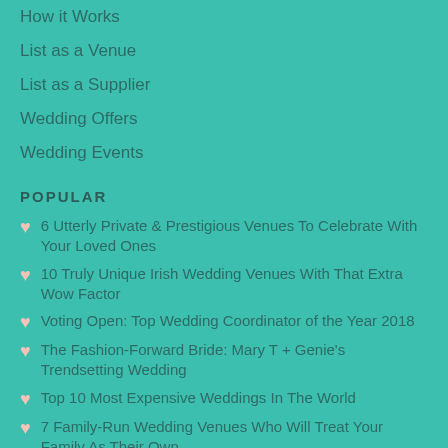How it Works
List as a Venue
List as a Supplier
Wedding Offers
Wedding Events
POPULAR
6 Utterly Private & Prestigious Venues To Celebrate With Your Loved Ones
10 Truly Unique Irish Wedding Venues With That Extra Wow Factor
Voting Open: Top Wedding Coordinator of the Year 2018
The Fashion-Forward Bride: Mary T + Genie's Trendsetting Wedding
Top 10 Most Expensive Weddings In The World
7 Family-Run Wedding Venues Who Will Treat Your Family As Their Own